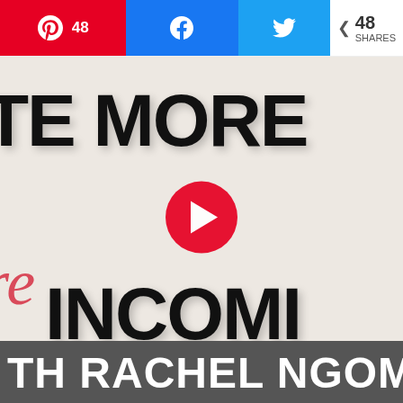[Figure (screenshot): Social share bar with Pinterest (48), Facebook share, and Twitter share buttons, plus a total of 48 SHARES indicator]
[Figure (screenshot): YouTube-style video thumbnail showing partial text 'TE MORE' and 'INCOMI' in large bold black letters, cursive red 're' text, a red YouTube play button in the center, and a dark gray footer bar reading 'TH RACHEL NGOM']